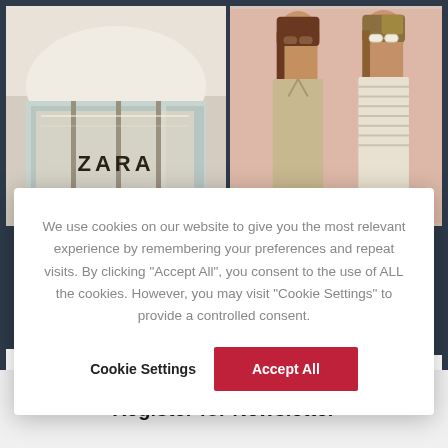[Figure (photo): Zara store front exterior with glass facade and illuminated interior showing clothing displays]
[Figure (photo): Two female fashion models wearing sunglasses and stylish outfits against a pink background]
We use cookies on our website to give you the most relevant experience by remembering your preferences and repeat visits. By clicking “Accept All”, you consent to the use of ALL the cookies. However, you may visit “Cookie Settings” to provide a controlled consent.
Cookie Settings
Accept All
6 Jan 2022
25 May 2022
Register for Newsletter